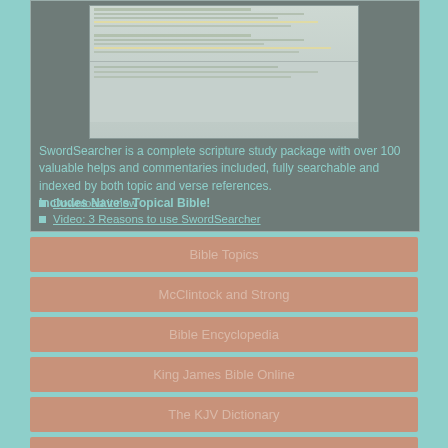[Figure (screenshot): Screenshot of SwordSearcher Bible study software interface showing text panels with highlighted verses]
SwordSearcher is a complete scripture study package with over 100 valuable helps and commentaries included, fully searchable and indexed by both topic and verse references. Includes Nave's Topical Bible!
Download it now
Video: 3 Reasons to use SwordSearcher
Bible Topics
McClintock and Strong
Bible Encyclopedia
King James Bible Online
The KJV Dictionary
Bible Software